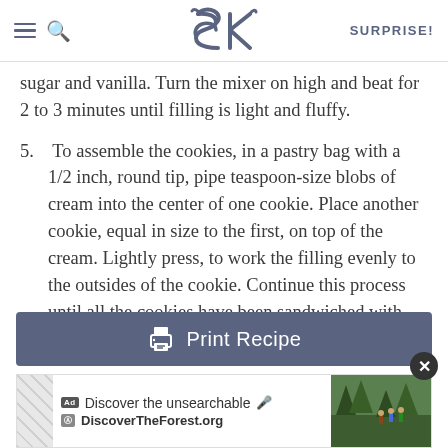SK SURPRISE!
sugar and vanilla. Turn the mixer on high and beat for 2 to 3 minutes until filling is light and fluffy.
5. To assemble the cookies, in a pastry bag with a 1/2 inch, round tip, pipe teaspoon-size blobs of cream into the center of one cookie. Place another cookie, equal in size to the first, on top of the cream. Lightly press, to work the filling evenly to the outsides of the cookie. Continue this process until all the cookies have been sandwiched with cream. Dunk generously in a large glass of milk.
[Figure (screenshot): Print Recipe button - slate blue rounded rectangle with printer icon and text 'Print Recipe']
[Figure (screenshot): Advertisement banner: 'Discover the unsearchable / DiscoverTheForest.org' with forest photo and close button]